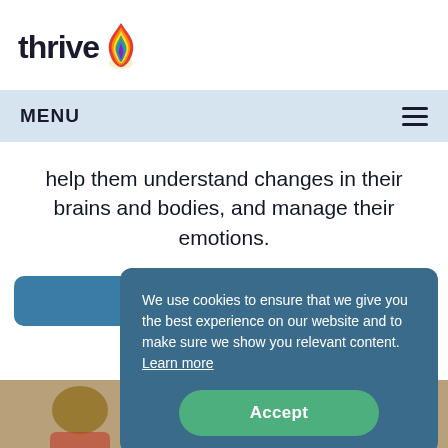[Figure (logo): Thrive logo with rainbow flame icon and bold 'thrive' text]
MENU
help them understand changes in their brains and bodies, and manage their emotions.
FIND OUT MORE
We use cookies to ensure that we give you the best experience on our website and to make sure we show you relevant content.  Learn more
Accept
[Figure (photo): Photo strip at bottom showing people/children]